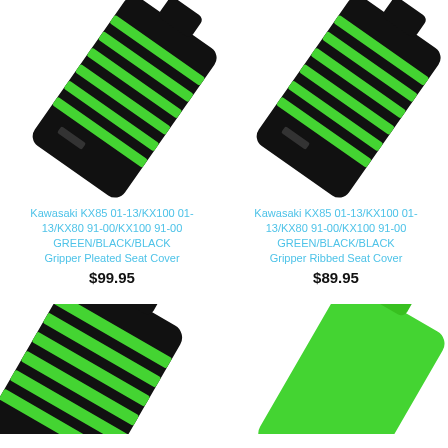[Figure (photo): Kawasaki KX85/KX100/KX80 GREEN/BLACK/BLACK Gripper Pleated Seat Cover - black seat cover with green horizontal stripes, angled view]
[Figure (photo): Kawasaki KX85/KX100/KX80 GREEN/BLACK/BLACK Gripper Ribbed Seat Cover - black seat cover with green horizontal stripes, angled view]
Kawasaki KX85 01-13/KX100 01-13/KX80 91-00/KX100 91-00 GREEN/BLACK/BLACK Gripper Pleated Seat Cover
$99.95
Kawasaki KX85 01-13/KX100 01-13/KX80 91-00/KX100 91-00 GREEN/BLACK/BLACK Gripper Ribbed Seat Cover
$89.95
[Figure (photo): Black seat cover with green horizontal ribbed stripes, bottom-left portion visible]
[Figure (photo): Bright green seat cover, bottom-right portion visible]